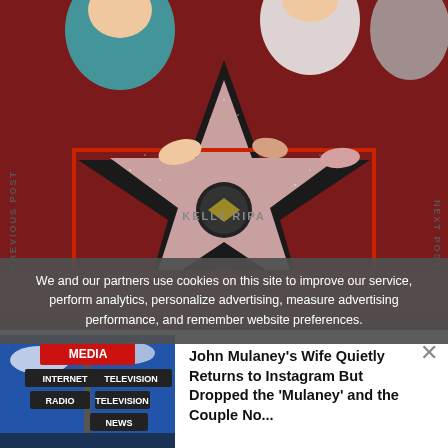[Figure (photo): People posing around a Hollywood Walk of Fame star reading 'Kelly Ripa' on a red carpet surface]
PREVIOUS POST
NEXT POST
We and our partners use cookies on this site to improve our service, perform analytics, personalize advertising, measure advertising performance, and remember website preferences.
[Figure (photo): Street sign post with signs reading MEDIA, INTERNET, TELEVISION, RADIO, NEWS]
John Mulaney's Wife Quietly Returns to Instagram But Dropped the 'Mulaney' and the Couple No...